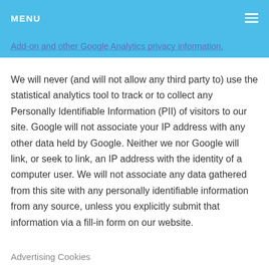MENU
Add-on and other Google Analytics privacy information.
We will never (and will not allow any third party to) use the statistical analytics tool to track or to collect any Personally Identifiable Information (PII) of visitors to our site. Google will not associate your IP address with any other data held by Google. Neither we nor Google will link, or seek to link, an IP address with the identity of a computer user. We will not associate any data gathered from this site with any personally identifiable information from any source, unless you explicitly submit that information via a fill-in form on our website.
Advertising Cookies